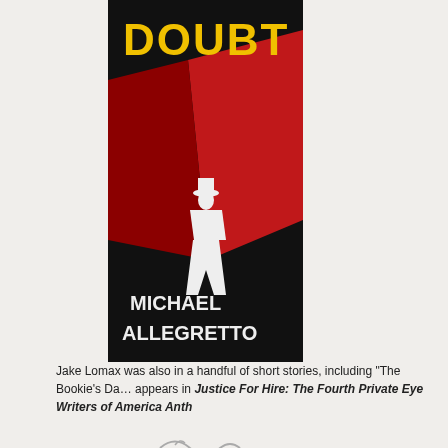[Figure (illustration): Book cover for 'Doubt' by Michael Allegretto showing yellow text on dark background with a silhouette of a man in a hat and coat]
Jake Lomax was also in a handful of short stories, including "The Bookie's Da… appears in Justice For Hire: The Fourth Private Eye Writers of America Anth…
[Figure (illustration): Decorative squiggle divider]
A Review by Dan Stumpf: JEAN POTTS – The…
Tue 21 Feb 2012
Posted by Steve under Reviews
[2] Comments
REVIEWED BY DAN STUMPF:
JEAN POTTS – The Diehard. Scribner's, hardcover, 1956. Dell 982, paperback,…
I picked up this book on a whim and found it — well, not completely successful, but such a unique blend of the clichéd
[Figure (illustration): Small book cover image at bottom right — red and white Dell paperback cover]